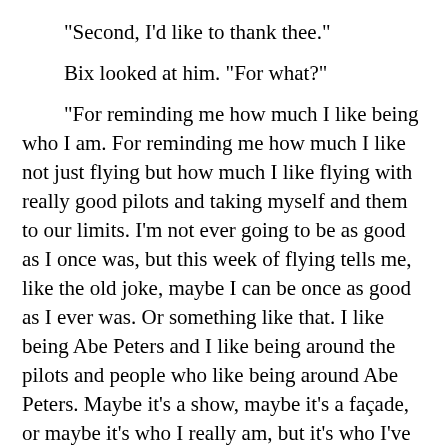"Second, I'd like to thank thee."
Bix looked at him. "For what?"
"For reminding me how much I like being who I am. For reminding me how much I like not just flying but how much I like flying with really good pilots and taking myself and them to our limits. I'm not ever going to be as good as I once was, but this week of flying tells me, like the old joke, maybe I can be once as good as I ever was. Or something like that. I like being Abe Peters and I like being around the pilots and people who like being around Abe Peters. Maybe it's a show, maybe it's a façade, or maybe it's who I really am, but it's who I've been for so long I wouldn't know the difference. I thank thee for bringing all that joy back to me and sharing it with me.
"Flying with thee has been an absolute joy for me. At my age, I may not have another student, and I can pretty-well count on not having another